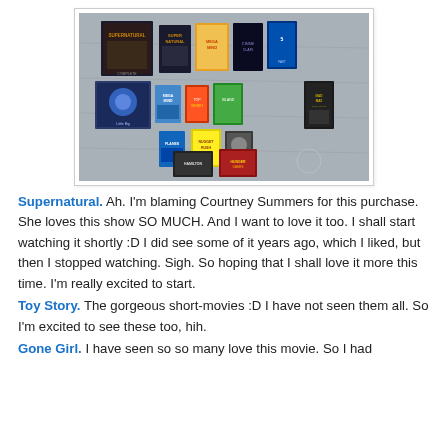[Figure (photo): A collection of DVDs, Blu-rays, and Nintendo DS game cases arranged on a wooden floor, including Supernatural box set, Megamind, and other titles.]
Supernatural. Ah. I'm blaming Courtney Summers for this purchase. She loves this show SO MUCH. And I want to love it too. I shall start watching it shortly :D I did see some of it years ago, which I liked, but then I stopped watching. Sigh. So hoping that I shall love it more this time. I'm really excited to start.
Toy Story. The gorgeous short-movies :D I have not seen them all. So I'm excited to see these too, hih.
Gone Girl. I have seen so so many love this movie. So I had